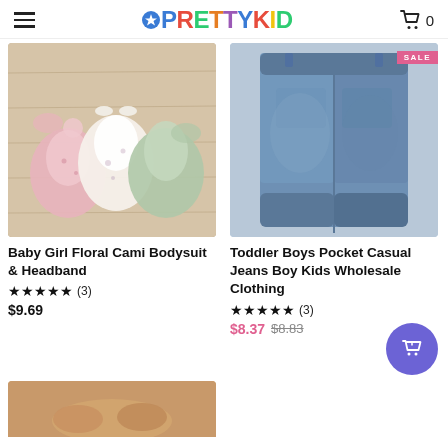PrettyKid — navigation header with hamburger menu and cart icon showing 0 items
[Figure (photo): Baby girl floral cami bodysuits (pink, white, green) with headbands on wood background]
Baby Girl Floral Cami Bodysuit & Headband
★★★★★ (3)
$9.69
[Figure (photo): Toddler boys denim jeans shown from back, with SALE badge top right]
Toddler Boys Pocket Casual Jeans Boy Kids Wholesale Clothing
★★★★★ (3)
$8.37  $8.83
[Figure (photo): Partial preview of a third product at bottom of page]